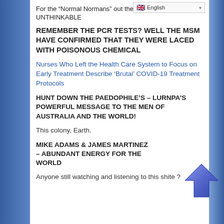For the “Normal Normans” out the UNTHINKABLE
REMEMBER THE PCR TESTS? WELL THE MSM HAVE CONFIRMED THAT THEY WERE LACED WITH POISONOUS CHEMICAL
Nurses Who Left the Health Care System to Focus on Early Treatment Describe ‘Brutal’ COVID-19 Treatment Protocols
HUNT DOWN THE PAEDOPHILE’S – LURNPA’S POWERFUL MESSAGE TO THE MEN OF AUSTRALIA AND THE WORLD!
This colony, Earth.
MIKE ADAMS & JAMES MARTINEZ – ABUNDANT ENERGY FOR THE WORLD
[Figure (illustration): Blue upward-pointing arrow icon]
Anyone still watching and listening to this shite ?